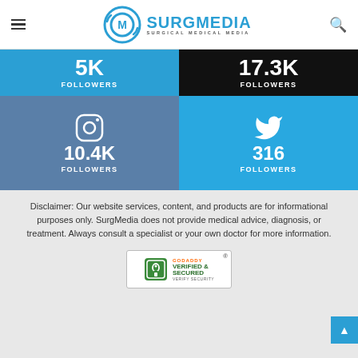[Figure (logo): SurgMedia Surgical Medical Media logo with circular M icon in blue]
[Figure (infographic): Social media followers grid: Facebook 5K, Twitter/X 17.3K, Instagram 10.4K, Twitter 316]
Disclaimer: Our website services, content, and products are for informational purposes only. SurgMedia does not provide medical advice, diagnosis, or treatment. Always consult a specialist or your own doctor for more information.
[Figure (other): GoDaddy Verified & Secured badge]